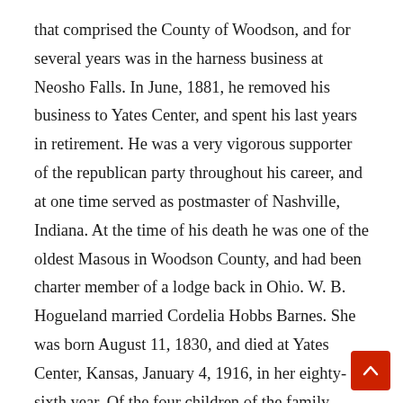that comprised the County of Woodson, and for several years was in the harness business at Neosho Falls. In June, 1881, he removed his business to Yates Center, and spent his last years in retirement. He was a very vigorous supporter of the republican party throughout his career, and at one time served as postmaster of Nashville, Indiana. At the time of his death he was one of the oldest Masous in Woodson County, and had been charter member of a lodge back in Ohio. W. B. Hogueland married Cordelia Hobbs Barnes. She was born August 11, 1830, and died at Yates Center, Kansas, January 4, 1916, in her eighty-sixth year. Of the four children of the family William E. is the youngest. The oldest is S. H. Hogueland, in the real estate business at Yates Center, M